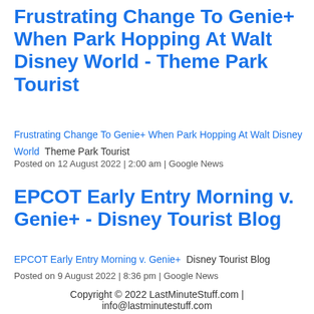Frustrating Change To Genie+ When Park Hopping At Walt Disney World - Theme Park Tourist
Frustrating Change To Genie+ When Park Hopping At Walt Disney World  Theme Park Tourist
Posted on 12 August 2022 | 2:00 am | Google News
EPCOT Early Entry Morning v. Genie+ - Disney Tourist Blog
EPCOT Early Entry Morning v. Genie+  Disney Tourist Blog
Posted on 9 August 2022 | 8:36 pm | Google News
Copyright © 2022 LastMinuteStuff.com | info@lastminutestuff.com